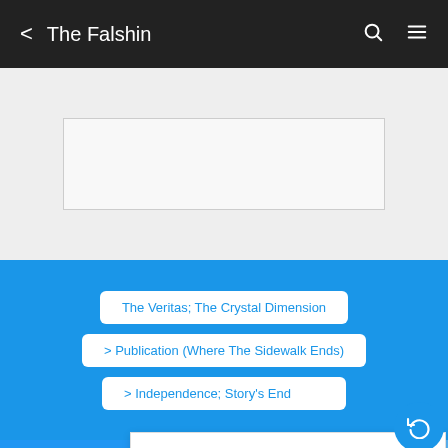< The Falshin
[Figure (other): Empty advertisement placeholder box on grey background]
The Veritas; The Crystal Dimension
> Publication (Where The Sidewalk Ends)
> Independence; Story's End
[Figure (screenshot): Bottom UI overlay with blue square, red arrow, X close, number and partial text 'Ho', white panel overlay, and circular back button]
Ho